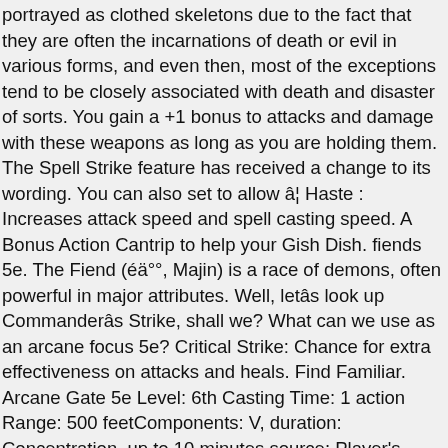portrayed as clothed skeletons due to the fact that they are often the incarnations of death or evil in various forms, and even then, most of the exceptions tend to be closely associated with death and disaster of sorts. You gain a +1 bonus to attacks and damage with these weapons as long as you are holding them. The Spell Strike feature has received a change to its wording. You can also set to allow â¦ Haste : Increases attack speed and spell casting speed. A Bonus Action Cantrip to help your Gish Dish. fiends 5e. The Fiend (éä°°, Majin) is a race of demons, often powerful in major attributes. Well, letâs look up Commanderâs Strike, shall we? What can we use as an arcane focus 5e? Critical Strike: Chance for extra effectiveness on attacks and heals. Find Familiar. Arcane Gate 5e Level: 6th Casting Time: 1 action Range: 500 feetComponents: V, duration: Concentration, up to 10 minutes source: Player's Handbook Spell Lis: Sorcerer, Warlock, Wizard One of the coolest, unappreciated class features of any class in D&D 5e is the Wizardâs Spell Mastery at level eighteen. 5e Arcane Trickster is a dnd Rogue